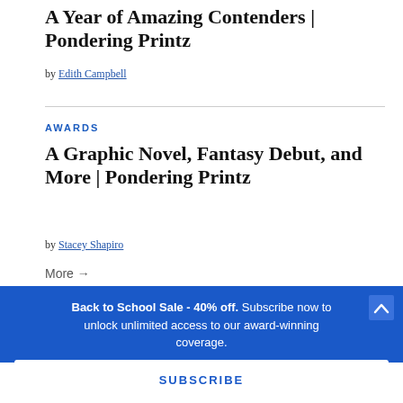A Year of Amazing Contenders | Pondering Printz
by Edith Campbell
AWARDS
A Graphic Novel, Fantasy Debut, and More | Pondering Printz
by Stacey Shapiro
More →
Back to School Sale - 40% off. Subscribe now to unlock unlimited access to our award-winning coverage.
SUBSCRIBE